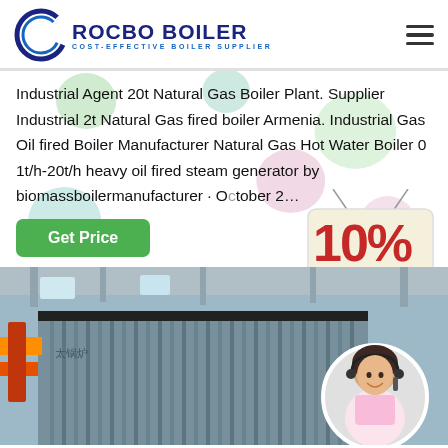ROCBO BOILER - COST-EFFECTIVE BOILER SUPPLIER
Industrial Agent 20t Natural Gas Boiler Plant. Supplier Industrial 2t Natural Gas fired boiler Armenia. Industrial Gas Oil fired Boiler Manufacturer Natural Gas Hot Water Boiler 0 1t/h-20t/h heavy oil fired steam generator by biomassboilermanufacturer · October 2…
Get Price
[Figure (infographic): 10% DISCOUNT badge hanging sign with red bold text on cream background]
[Figure (photo): Industrial boiler plant interior showing large corrugated metal boiler equipment in a factory setting, with a circular inset photo of a female customer service representative wearing a headset, smiling]